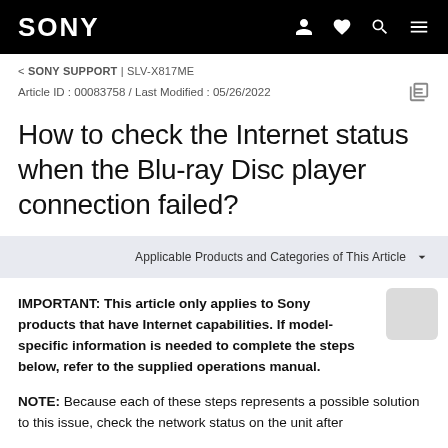SONY
< SONY SUPPORT | SLV-X817ME
Article ID : 00083758 / Last Modified : 05/26/2022
How to check the Internet status when the Blu-ray Disc player connection failed?
Applicable Products and Categories of This Article
IMPORTANT: This article only applies to Sony products that have Internet capabilities. If model-specific information is needed to complete the steps below, refer to the supplied operations manual.
NOTE: Because each of these steps represents a possible solution to this issue, check the network status on the unit after